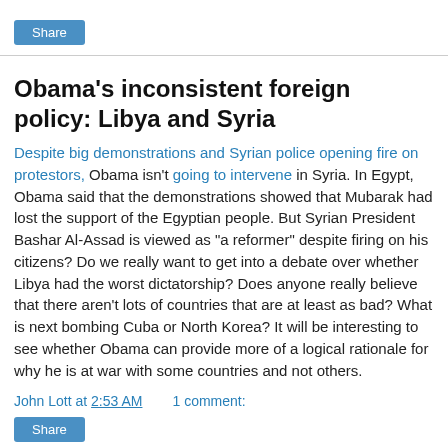Share
Obama's inconsistent foreign policy: Libya and Syria
Despite big demonstrations and Syrian police opening fire on protestors, Obama isn't going to intervene in Syria. In Egypt, Obama said that the demonstrations showed that Mubarak had lost the support of the Egyptian people. But Syrian President Bashar Al-Assad is viewed as "a reformer" despite firing on his citizens? Do we really want to get into a debate over whether Libya had the worst dictatorship? Does anyone really believe that there aren't lots of countries that are at least as bad? What is next bombing Cuba or North Korea? It will be interesting to see whether Obama can provide more of a logical rationale for why he is at war with some countries and not others.
John Lott at 2:53 AM    1 comment:
Share